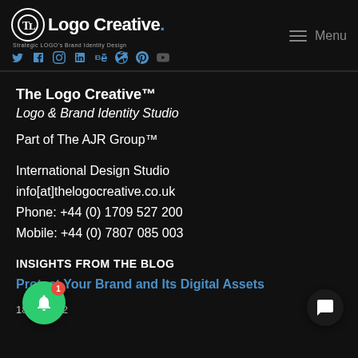[Figure (logo): The Logo Creative logo with circular TL emblem and social media icons (Twitter, Facebook, Instagram, LinkedIn, Behance, Dribbble, Pinterest, YouTube)]
The Logo Creative™
Logo & Brand Identity Studio
Part of The AJR Group™
International Design Studio
info[at]thelogocreative.co.uk
Phone: +44 (0) 1709 527 200
Mobile: +44 (0) 7807 085 003
INSIGHTS FROM THE BLOG
Protect Your Brand and Its Digital Assets
18/08/2022